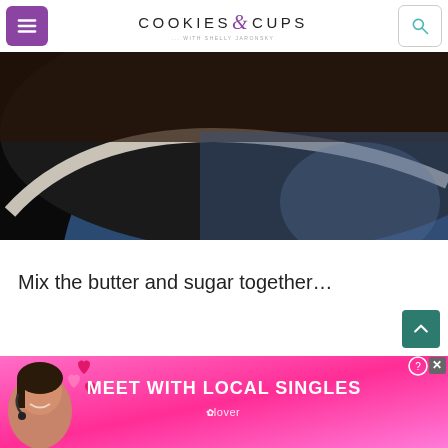COOKIES & CUPS with Shelly Jaronsky
[Figure (photo): Close-up dark photo of a blue ceramic bowl rim with brown background, showing mixing bowl interior]
Mix the butter and sugar together…
[Figure (photo): Advertisement banner: MEET WITH LOCAL SINGLES - clover app ad with woman smiling and hearts, pink gradient background]